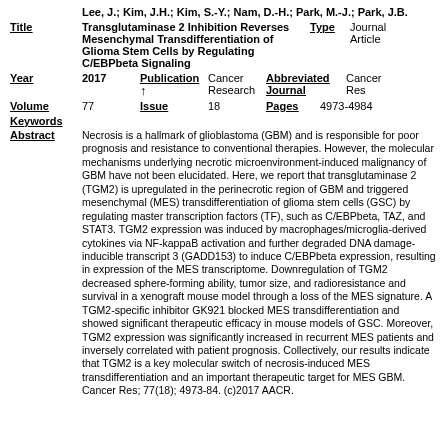Lee, J.; Kim, J.H.; Kim, S.-Y.; Nam, D.-H.; Park, M.-J.; Park, J.B.
Transglutaminase 2 Inhibition Reverses Mesenchymal Transdifferentiation of Glioma Stem Cells by Regulating C/EBPbeta Signaling
Type: Journal Article
Year: 2017 | Publication: Cancer Research | Abbreviated Journal: Cancer Res
Volume: 77 | Issue: 18 | Pages: 4973-4984
Keywords
Abstract: Necrosis is a hallmark of glioblastoma (GBM) and is responsible for poor prognosis and resistance to conventional therapies. However, the molecular mechanisms underlying necrotic microenvironment-induced malignancy of GBM have not been elucidated. Here, we report that transglutaminase 2 (TGM2) is upregulated in the perinecrotic region of GBM and triggered mesenchymal (MES) transdifferentiation of glioma stem cells (GSC) by regulating master transcription factors (TF), such as C/EBPbeta, TAZ, and STAT3. TGM2 expression was induced by macrophages/microglia-derived cytokines via NF-kappaB activation and further degraded DNA damage-inducible transcript 3 (GADD153) to induce C/EBPbeta expression, resulting in expression of the MES transcriptome. Downregulation of TGM2 decreased sphere-forming ability, tumor size, and radioresistance and survival in a xenograft mouse model through a loss of the MES signature. A TGM2-specific inhibitor GK921 blocked MES transdifferentiation and showed significant therapeutic efficacy in mouse models of GSC. Moreover, TGM2 expression was significantly increased in recurrent MES patients and inversely correlated with patient prognosis. Collectively, our results indicate that TGM2 is a key molecular switch of necrosis-induced MES transdifferentiation and an important therapeutic target for MES GBM. Cancer Res; 77(18); 4973-84. (c)2017 AACR.